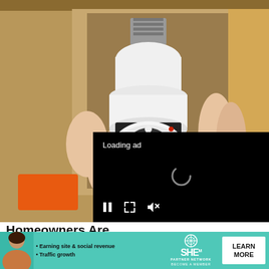[Figure (photo): A hand holding a white WiFi lightbulb security camera with LED ring and camera lens visible, with a screw base at top, photographed indoors.]
[Figure (screenshot): Black video ad loading overlay with 'Loading ad' text, a spinning loading arc in center, and playback controls (pause, expand, mute) at bottom.]
Homeowners Are Ditching Ring Cams for This.
Keilini | Sponsored
[Figure (infographic): Bottom banner advertisement for SHE Media Partner Network. Features a woman, bullet points 'Earning site & social revenue' and 'Traffic growth', SHE Partner Network logo with 'Become a Member' tagline, and a 'LEARN MORE' button on teal background.]